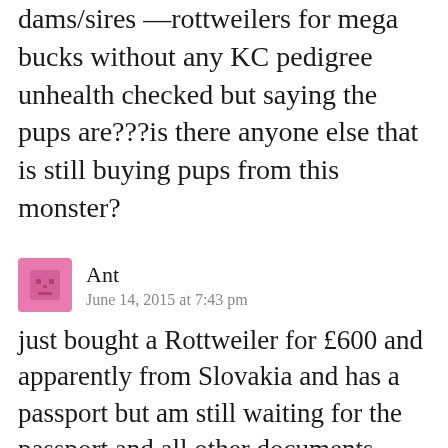pups from different mothers dams/sires —rottweilers for mega bucks without any KC pedigree unhealth checked but saying the pups are???is there anyone else that is still buying pups from this monster?
Ant
June 14, 2015 at 7:43 pm
just bought a Rottweiler for £600 and apparently from Slovakia and has a passport but am still waiting for the passport and all other documents… so seems the guys a scammer and don't trust this guy